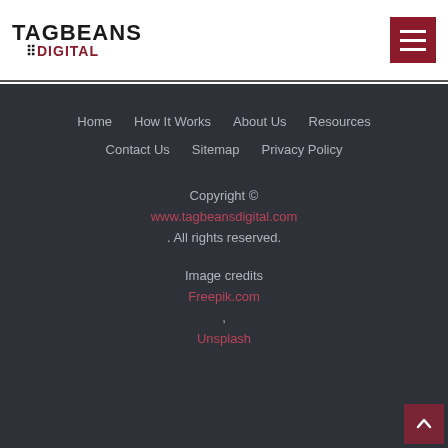[Figure (logo): Tagbeans Digital logo with hamburger menu icon]
Home
How It Works
About Us
Resources
Contact Us
Sitemap
Privacy Policy
Copyright © www.tagbeansdigital.com . All rights reserved.
Image credits Freepik.com , Unsplash